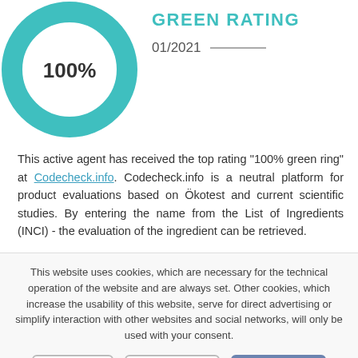[Figure (donut-chart): Teal/green donut chart showing 100% rating, partially cropped at top-left]
GREEN RATING
01/2021 —
This active agent has received the top rating "100% green ring" at Codecheck.info. Codecheck.info is a neutral platform for product evaluations based on Ökotest and current scientific studies. By entering the name from the List of Ingredients (INCI) - the evaluation of the ingredient can be retrieved.
This website uses cookies, which are necessary for the technical operation of the website and are always set. Other cookies, which increase the usability of this website, serve for direct advertising or simplify interaction with other websites and social networks, will only be used with your consent.
Decline | Accept all | Configure